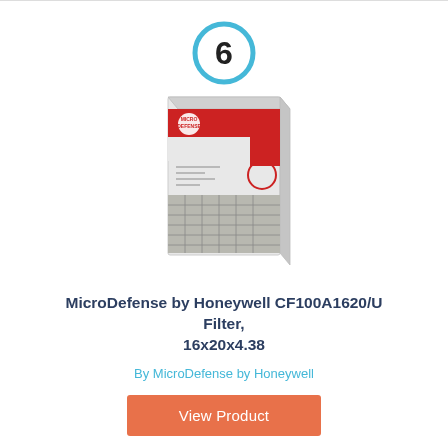[Figure (other): Blue circle badge with number 6 inside]
[Figure (photo): MicroDefense by Honeywell CF100A1620/U air filter product box photo]
MicroDefense by Honeywell CF100A1620/U Filter, 16x20x4.38
By MicroDefense by Honeywell
View Product